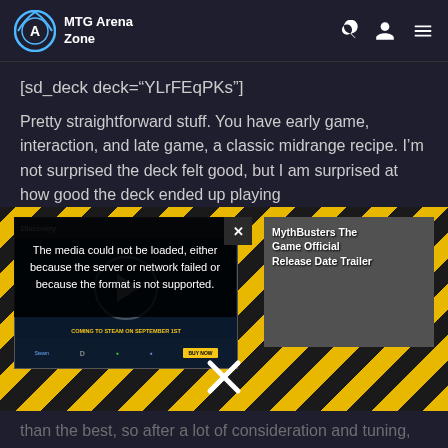MTG Arena Zone
[sd_deck deck="YLrFEqPKs"]
Pretty straightforward stuff. You have early game, interaction, and late game, a classic midrange recipe. I'm not surprised the deck felt good, but I am surprised at how good the deck ended up playing
[Figure (screenshot): Embedded video player showing an error message: 'The media could not be loaded, either because the server or network failed or because the format is not supported.' with a close button. A second video labeled 'MythBusters The Game Official Release Date Trailer' is partially visible to the right.]
than the best, so after a lot of consideration and tuning, I've arrived at a mostly similar, but updated list.